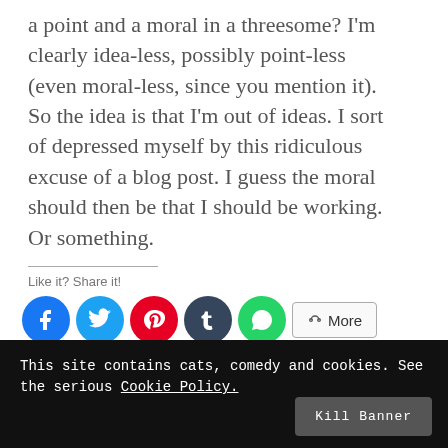a point and a moral in a threesome? I'm clearly idea-less, possibly point-less (even moral-less, since you mention it). So the idea is that I'm out of ideas. I sort of depressed myself by this ridiculous excuse of a blog post. I guess the moral should then be that I should be working. Or something.
Like it? Share it!
[Figure (infographic): Social sharing buttons: Facebook, Twitter, Pinterest, Tumblr, WhatsApp, and More button]
[Figure (infographic): Like button and avatars of 27 bloggers who liked the post]
27 bloggers like this.
This site contains cats, comedy and cookies. See the serious Cookie Policy.